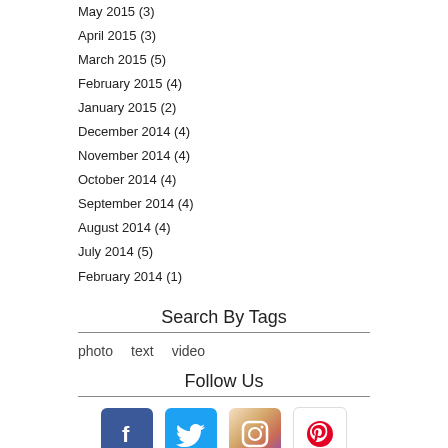May 2015 (3)
April 2015 (3)
March 2015 (5)
February 2015 (4)
January 2015 (2)
December 2014 (4)
November 2014 (4)
October 2014 (4)
September 2014 (4)
August 2014 (4)
July 2014 (5)
February 2014 (1)
Search By Tags
photo   text   video
Follow Us
[Figure (infographic): Social media icons: Facebook, Twitter, Instagram, Pinterest]